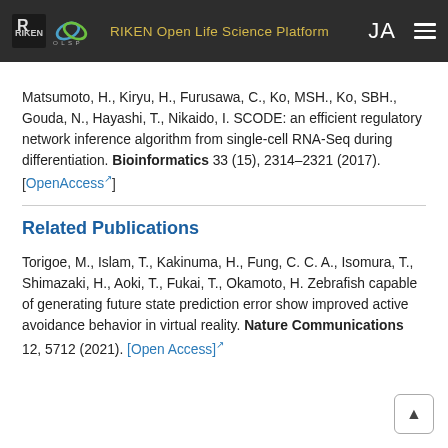RIKEN Open Life Science Platform  JA ☰
Matsumoto, H., Kiryu, H., Furusawa, C., Ko, MSH., Ko, SBH., Gouda, N., Hayashi, T., Nikaido, I. SCODE: an efficient regulatory network inference algorithm from single-cell RNA-Seq during differentiation. Bioinformatics 33 (15), 2314–2321 (2017). [OpenAccess↗]
Related Publications
Torigoe, M., Islam, T., Kakinuma, H., Fung, C. C. A., Isomura, T., Shimazaki, H., Aoki, T., Fukai, T., Okamoto, H. Zebrafish capable of generating future state prediction error show improved active avoidance behavior in virtual reality. Nature Communications 12, 5712 (2021). [Open Access]↗